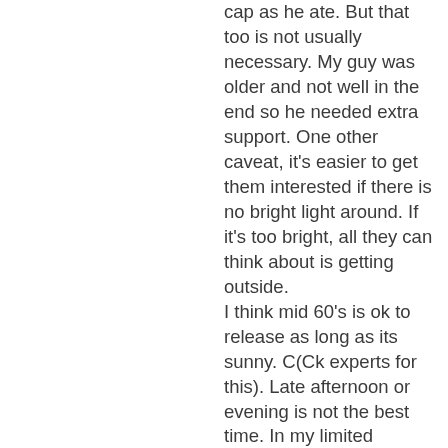cap as he ate. But that too is not usually necessary. My guy was older and not well in the end so he needed extra support. One other caveat, it's easier to get them interested if there is no bright light around. If it's too bright, all they can think about is getting outside.
I think mid 60's is ok to release as long as its sunny. C(Ck experts for this). Late afternoon or evening is not the best time. In my limited experience, they like an early night with some rough sticks (1/2 " diameter seemed preferred) or a plant to hang on overnight.